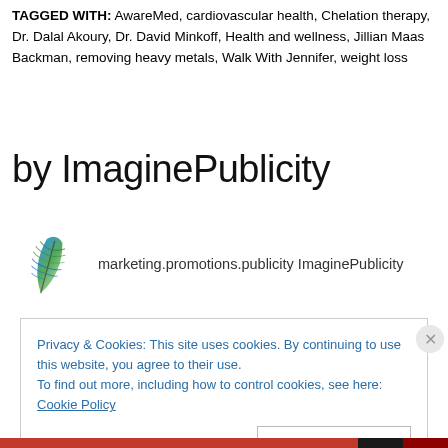TAGGED WITH: AwareMed, cardiovascular health, Chelation therapy, Dr. Dalal Akoury, Dr. David Minkoff, Health and wellness, Jillian Maas Backman, removing heavy metals, Walk With Jennifer, weight loss
by ImaginePublicity
marketing.promotions.publicity ImaginePublicity
Privacy & Cookies: This site uses cookies. By continuing to use this website, you agree to their use. To find out more, including how to control cookies, see here: Cookie Policy
Close and accept